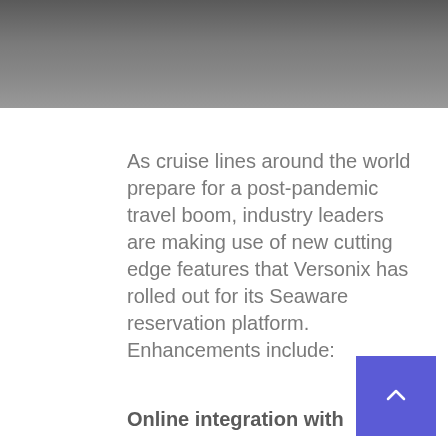[Figure (photo): Dark grey header image, appears to be a blurred or faded photograph serving as a decorative banner at the top of the page.]
As cruise lines around the world prepare for a post-pandemic travel boom, industry leaders are making use of new cutting edge features that Versonix has rolled out for its Seaware reservation platform. Enhancements include:
Online integration with